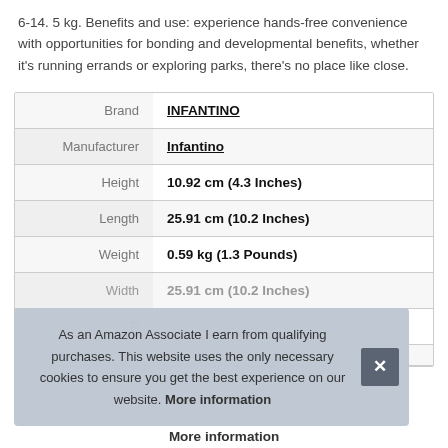6-14. 5 kg. Benefits and use: experience hands-free convenience with opportunities for bonding and developmental benefits, whether it's running errands or exploring parks, there's no place like close.
| Property | Value |
| --- | --- |
| Brand | INFANTINO |
| Manufacturer | Infantino |
| Height | 10.92 cm (4.3 Inches) |
| Length | 25.91 cm (10.2 Inches) |
| Weight | 0.59 kg (1.3 Pounds) |
| Width | 25.91 cm (10.2 Inches) |
| P |  |
As an Amazon Associate I earn from qualifying purchases. This website uses the only necessary cookies to ensure you get the best experience on our website. More information
More information